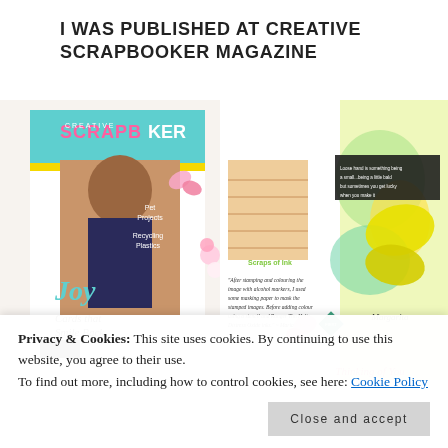I WAS PUBLISHED AT CREATIVE SCRAPBOOKER MAGAZINE
[Figure (photo): Photograph showing Creative Scrapbooker magazine cover featuring a girl with headphones, alongside an open page spread showing scrapbook layouts with colorful butterflies, flowers, and a 'Thinking of You' card project.]
Privacy & Cookies: This site uses cookies. By continuing to use this website, you agree to their use.
To find out more, including how to control cookies, see here: Cookie Policy
Close and accept